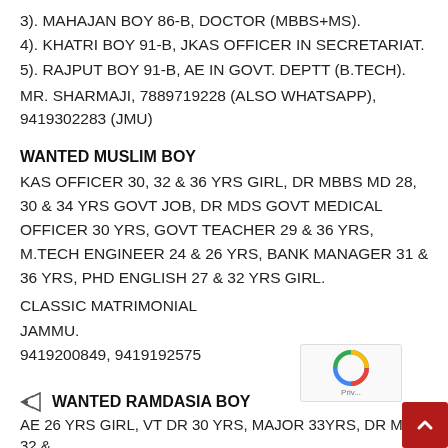3). MAHAJAN BOY 86-B, DOCTOR (MBBS+MS).
4). KHATRI BOY 91-B, JKAS OFFICER IN SECRETARIAT.
5). RAJPUT BOY 91-B, AE IN GOVT. DEPTT (B.TECH).
MR. SHARMAJI, 7889719228 (ALSO WHATSAPP), 9419302283 (JMU)
WANTED MUSLIM BOY
KAS OFFICER 30, 32 & 36 YRS GIRL, DR MBBS MD 28, 30 & 34 YRS GOVT JOB, DR MDS GOVT MEDICAL OFFICER 30 YRS, GOVT TEACHER 29 & 36 YRS, M.TECH ENGINEER 24 & 26 YRS, BANK MANAGER 31 & 36 YRS, PHD ENGLISH 27 & 32 YRS GIRL.
CLASSIC MATRIMONIAL
JAMMU.
9419200849, 9419192575
WANTED RAMDASIA BOY
AE 26 YRS GIRL, VT DR 30 YRS, MAJOR 33YRS, DR MD 32 &…